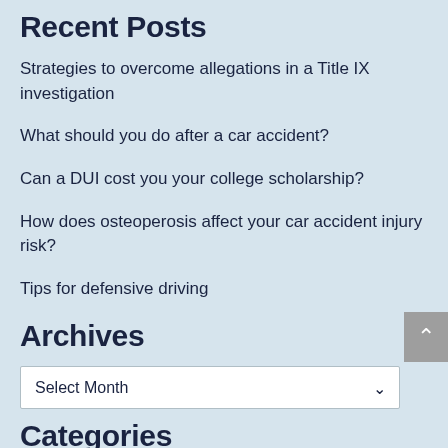Recent Posts
Strategies to overcome allegations in a Title IX investigation
What should you do after a car accident?
Can a DUI cost you your college scholarship?
How does osteoperosis affect your car accident injury risk?
Tips for defensive driving
Archives
Select Month
Categories